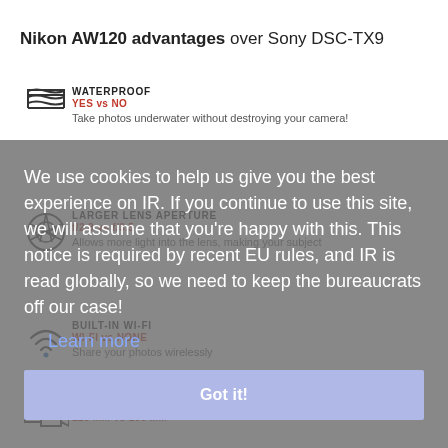Nikon AW120 advantages over Sony DSC-TX9
WATERPROOF
YES vs NO
Take photos underwater without destroying your camera!
LARGER LENS APERTURE
f/2.8 vs f/3.5
Allows more light into the lens, making your subject
BUILT-IN WI-FI
WI-FI vs NONE
Share your photos wirelessly
MORE TELEPHOTO LENS REACH
120 MM vs 100 MM
We use cookies to help us give you the best experience on IR. If you continue to use this site, we will assume that you're happy with this. This notice is required by recent EU rules, and IR is read globally, so we need to keep the bureaucrats off our case!
Learn more
Got it!